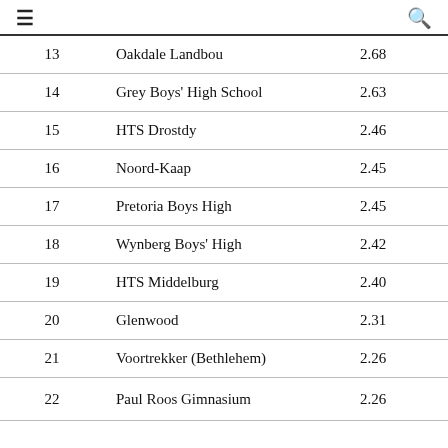≡  🔍
| Rank | School | Score |
| --- | --- | --- |
| 13 | Oakdale Landbou | 2.68 |
| 14 | Grey Boys' High School | 2.63 |
| 15 | HTS Drostdy | 2.46 |
| 16 | Noord-Kaap | 2.45 |
| 17 | Pretoria Boys High | 2.45 |
| 18 | Wynberg Boys' High | 2.42 |
| 19 | HTS Middelburg | 2.40 |
| 20 | Glenwood | 2.31 |
| 21 | Voortrekker (Bethlehem) | 2.26 |
| 22 | Paul Roos Gimnasium | 2.26 |